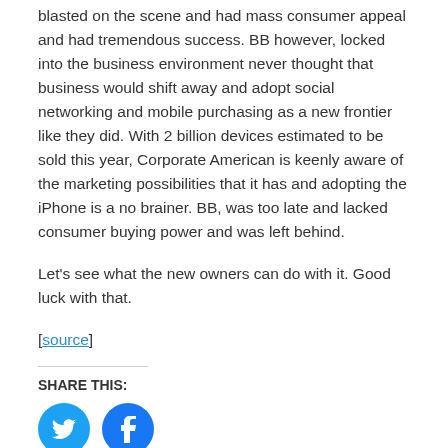blasted on the scene and had mass consumer appeal and had tremendous success. BB however, locked into the business environment never thought that business would shift away and adopt social networking and mobile purchasing as a new frontier like they did. With 2 billion devices estimated to be sold this year, Corporate American is keenly aware of the marketing possibilities that it has and adopting the iPhone is a no brainer. BB, was too late and lacked consumer buying power and was left behind.
Let’s see what the new owners can do with it. Good luck with that.
[source]
SHARE THIS:
[Figure (infographic): Twitter and Facebook share buttons as blue circular icons]
LIKE THIS:
Loading...